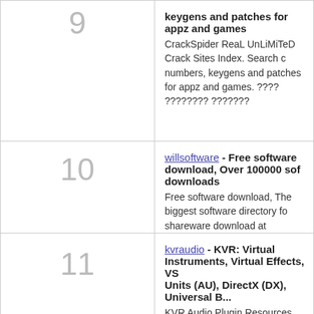9 - keygens and patches for appz and games - CrackSpider ReaL UnLiMiTeD Crack Sites Index. Search crack numbers, keygens and patches for appz and games. ???? ???????? ???????
10 - willsoftware - Free software download, Over 100000 software downloads - Free software download, The biggest software directory for shareware download at Willsoftware.com.
11 - kvraudio - KVR: Virtual Instruments, Virtual Effects, VST Units (AU), DirectX (DX), Universal B... - KVR Audio Plugin Resources, news and information about audio plugins (virtual instruments and virtual effects) - VST Uni...
12 - keygen
13 - kat.unlocktorrent - Download Torrents. Fast and Free Torrents KickassTorrents